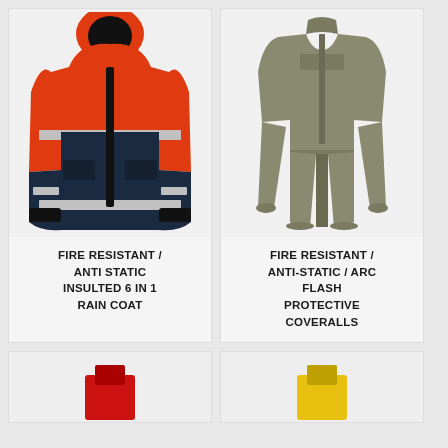[Figure (photo): Orange and navy hi-visibility fire resistant anti-static insulated rain jacket with reflective strips and hood]
FIRE RESISTANT / ANTI STATIC INSULTED 6 IN 1 RAIN COAT
[Figure (photo): Khaki/tan fire resistant anti-static arc flash protective coveralls]
FIRE RESISTANT / ANTI-STATIC / ARC FLASH PROTECTIVE COVERALLS
[Figure (photo): Partial view of bottom-left product (red item, partially visible)]
[Figure (photo): Partial view of bottom-right product (yellow item, partially visible)]